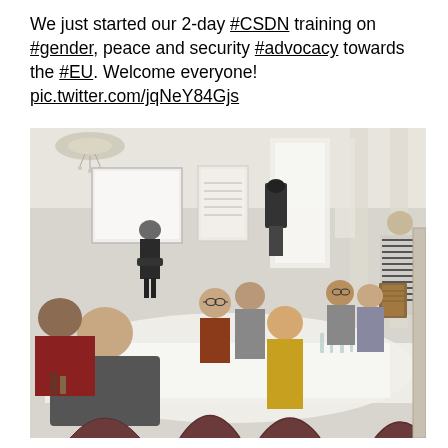We just started our 2-day #CSDN training on #gender, peace and security #advocacy towards the #EU. Welcome everyone! pic.twitter.com/jqNeY84Gjs
[Figure (photo): A conference or training session in a formal room. Multiple participants are seated around round tables covered with white tablecloths. A presenter stands at the front near a whiteboard, and another person on the right holds a stack of papers. The room has tall white columns and a chandelier visible in the background.]